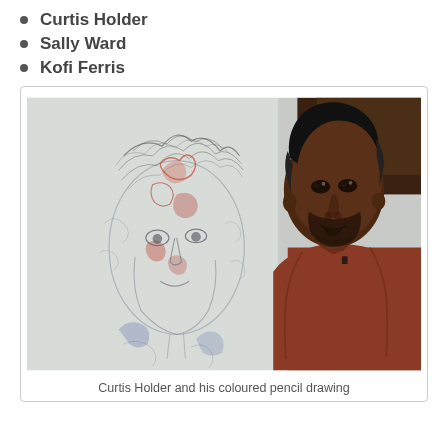Curtis Holder
Sally Ward
Kofi Ferris
[Figure (photo): Curtis Holder standing in front of a large coloured pencil drawing of a face/portrait on a white board. He is wearing a rust/terracotta coloured sweatshirt and smiling.]
Curtis Holder and his coloured pencil drawing